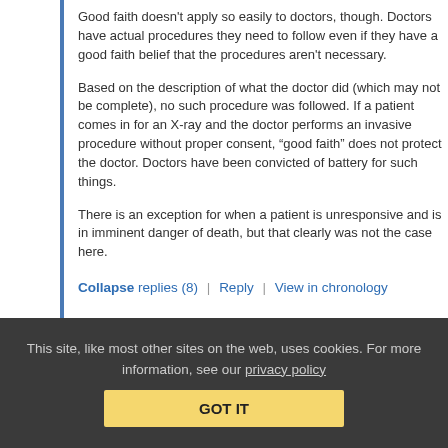Good faith doesn't apply so easily to doctors, though. Doctors have actual procedures they need to follow even if they have a good faith belief that the procedures aren't necessary.
Based on the description of what the doctor did (which may not be complete), no such procedure was followed. If a patient comes in for an X-ray and the doctor performs an invasive procedure without proper consent, “good faith” does not protect the doctor. Doctors have been convicted of battery for such things.
There is an exception for when a patient is unresponsive and is in imminent danger of death, but that clearly was not the case here.
Collapse replies (8) | Reply | View in chronology
This site, like most other sites on the web, uses cookies. For more information, see our privacy policy
GOT IT